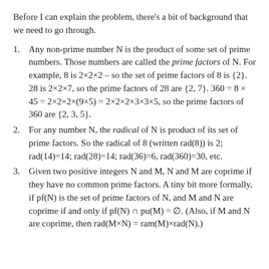Before I can explain the problem, there's a bit of background that we need to go through.
Any non-prime number N is the product of some set of prime numbers. Those numbers are called the prime factors of N. For example, 8 is 2×2×2 – so the set of prime factors of 8 is {2}. 28 is 2×2×7, so the prime factors of 28 are {2, 7}. 360 = 8 × 45 = 2×2×2×(9×5) = 2×2×2×3×3×5, so the prime factors of 360 are {2, 3, 5}.
For any number N, the radical of N is product of its set of prime factors. So the radical of 8 (written rad(8)) is 2; rad(14)=14; rad(28)=14; rad(36)=6, rad(360)=30, etc.
Given two positive integers N and M, N and M are coprime if they have no common prime factors. A tiny bit more formally, if pf(N) is the set of prime factors of N, and M and N are coprime if and only if pf(N) ∩ pu(M) = ∅. (Also, if M and N are coprime, then rad(M×N) = ram(M)×rad(N).)